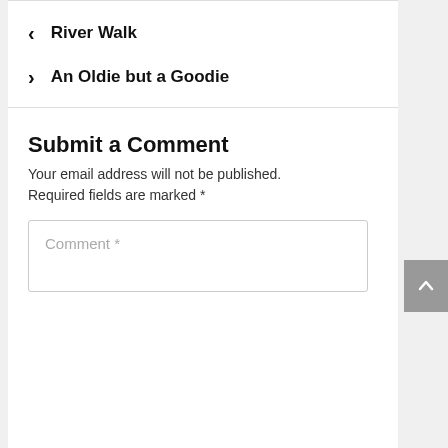< River Walk
> An Oldie but a Goodie
Submit a Comment
Your email address will not be published. Required fields are marked *